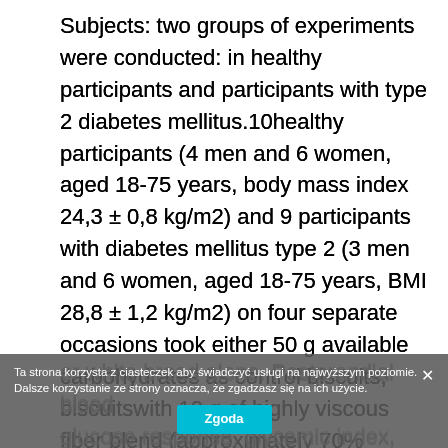Subjects: two groups of experiments were conducted: in healthy participants and participants with type 2 diabetes mellitus.10healthy participants (4 men and 6 women, aged 18-75 years, body mass index 24,3 ± 0,8 kg/m2) and 9 participants with diabetes mellitus type 2 (3 men and 6 women, aged 18-75 years, BMI 28,8 ± 1,2 kg/m2) on four separate occasions took either 50 g available carbohydrates as control biscuits, biscuitswith 10 g of highly viscous fiber blend (approximately 70% glucomannan and 30% xanthan), white bread with 12 g of margarine, or white bread alone. Postprandial blood glucose response, glycemic index, and palatability were determined. Blood samples were obtained at 15, 30, 45, 60, and 90 minutes after the start of the meal in healthy